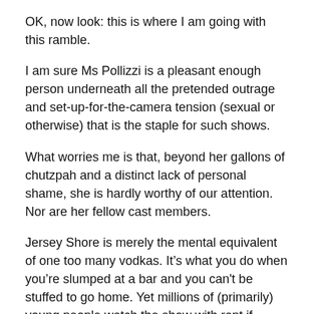OK, now look: this is where I am going with this ramble.
I am sure Ms Pollizzi is a pleasant enough person underneath all the pretended outrage and set-up-for-the-camera tension (sexual or otherwise) that is the staple for such shows.
What worries me is that, beyond her gallons of chutzpah and a distinct lack of personal shame, she is hardly worthy of our attention. Nor are her fellow cast members.
Jersey Shore is merely the mental equivalent of one too many vodkas. It’s what you do when you’re slumped at a bar and you can't be stuffed to go home. Yet millions of (primarily) young people watch the show with rapt if somewhat vacuous attention. The more moronic the behaviour exhibited, the higher the ratings.